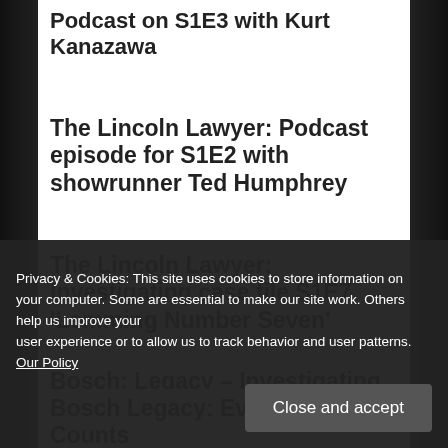Podcast on S1E3 with Kurt Kanazawa
The Lincoln Lawyer: Podcast episode for S1E2 with showrunner Ted Humphrey
The Lincoln Lawyer: Investigating case file S1E7 ‘Lemming Number Seven’
Bosch: Legacy – Investigating season
Privacy & Cookies: This site uses cookies to store information on your computer. Some are essential to make our site work. Others help us improve your user experience or to allow us to track behavior and user patterns. Our Policy
Bosch Legacy: Everybody Counts